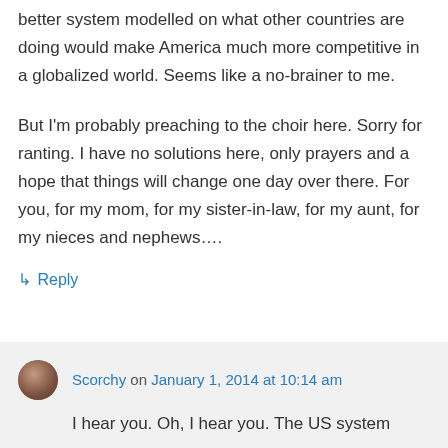better system modelled on what other countries are doing would make America much more competitive in a globalized world. Seems like a no-brainer to me.
But I'm probably preaching to the choir here. Sorry for ranting. I have no solutions here, only prayers and a hope that things will change one day over there. For you, for my mom, for my sister-in-law, for my aunt, for my nieces and nephews….
↳ Reply
Scorchy on January 1, 2014 at 10:14 am
I hear you. Oh, I hear you. The US system